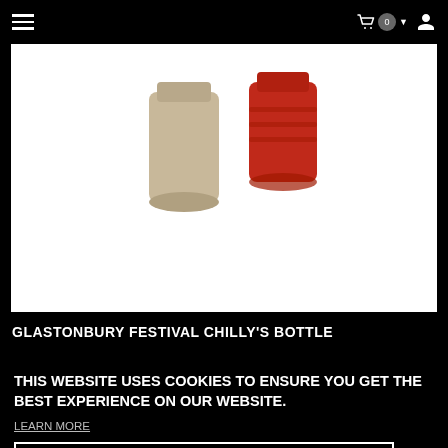Navigation bar with hamburger menu, cart icon with badge (0), dropdown arrow, and user icon
[Figure (photo): Two insulated bottles – one tan/beige and one red – on white background]
GLASTONBURY FESTIVAL CHILLY'S BOTTLE
THIS WEBSITE USES COOKIES TO ENSURE YOU GET THE BEST EXPERIENCE ON OUR WEBSITE.
LEARN MORE
GOT IT!
[Figure (photo): Partial bottom image, appears to be a person or product photo]